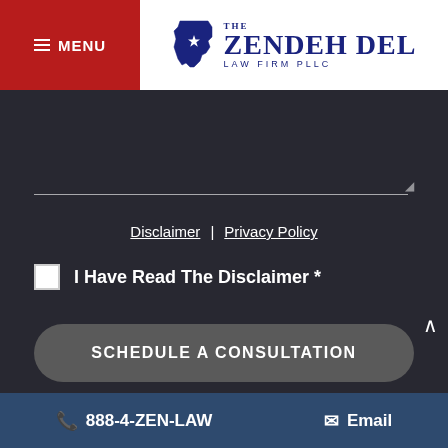[Figure (logo): The Zendeh Del Law Firm PLLC logo with Texas state silhouette icon in dark navy blue]
≡ MENU
Disclaimer | Privacy Policy
I Have Read The Disclaimer *
SCHEDULE A CONSULTATION
888-4-ZEN-LAW   Email